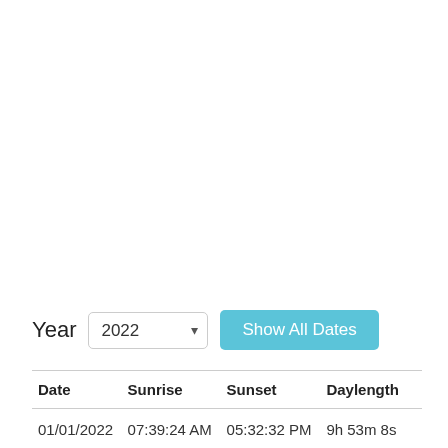Year  2022  Show All Dates
| Date | Sunrise | Sunset | Daylength |
| --- | --- | --- | --- |
| 01/01/2022 | 07:39:24 AM | 05:32:32 PM | 9h 53m 8s |
| 02/01/2022 | 07:29:25 AM | 06:01:52 PM | 10h 32m 27s |